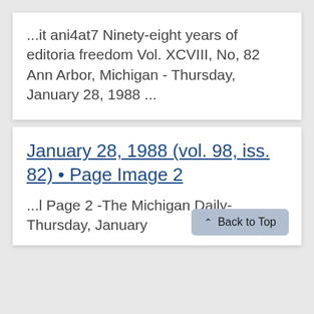...it ani4at7 Ninety-eight years of editoria freedom Vol. XCVIII, No, 82 Ann Arbor, Michigan - Thursday, January 28, 1988 ...
January 28, 1988 (vol. 98, iss. 82) • Page Image 2
...l Page 2 -The Michigan Daily- Thursday, January